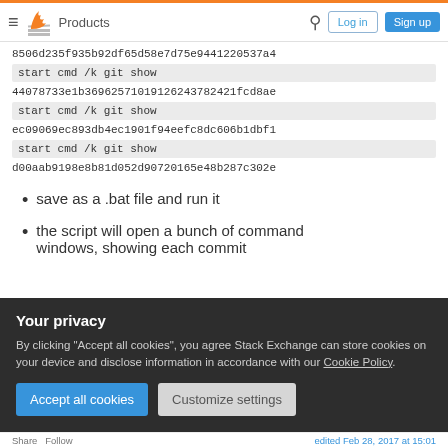Stack Exchange navigation bar with hamburger menu, logo, Products, search, Log in, Sign up
8506d235f935b92df65d58e7d75e9441220537a4
start cmd /k git show
44078733e1b36962571019126243782421fcd8ae
start cmd /k git show
ec09069ec893db4ec1901f94eefc8dc606b1dbf1
start cmd /k git show
d00aab9198e8b81d052d90720165e48b287c302e
save as a .bat file and run it
the script will open a bunch of command windows, showing each commit
Your privacy
By clicking "Accept all cookies", you agree Stack Exchange can store cookies on your device and disclose information in accordance with our Cookie Policy.
Accept all cookies   Customize settings
Share  Follow                    edited Feb 28, 2017 at 15:01